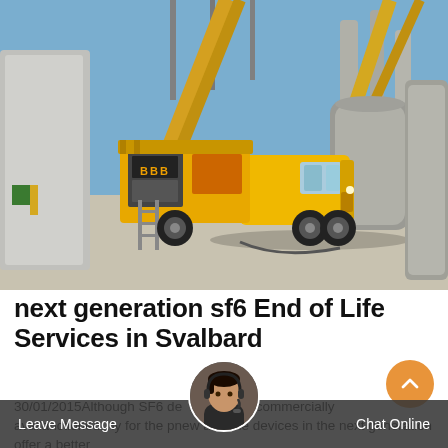[Figure (photo): Outdoor electrical substation with a yellow service/utility truck parked among large electrical equipment including transformers and bushings under a clear blue sky.]
next generation sf6 End of Life Services in Svalbard
30/01/2015Although SF6 devices have been commercially available and sanctioned only for the past new available devices in the next generation offer a better